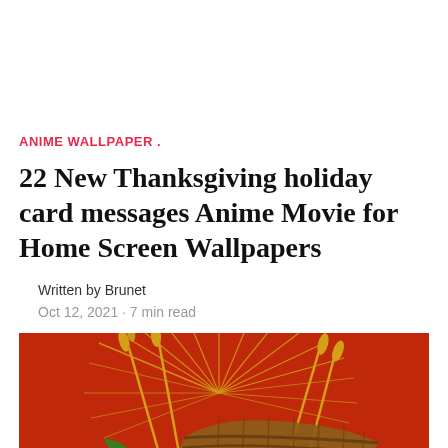ANIME WALLPAPER .
22 New Thanksgiving holiday card messages Anime Movie for Home Screen Wallpapers
Written by Brunet
Oct 12, 2021 · 7 min read
[Figure (photo): Thanksgiving cornucopia illustration on a red/orange background with wheat, autumn leaves, and pumpkins. A circular close button with an X appears at the bottom center.]